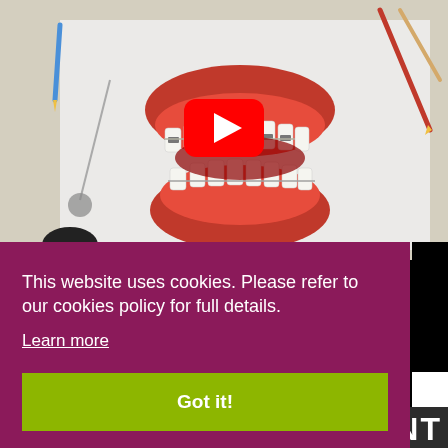[Figure (photo): Dental model with orthodontic braces and dental tools on a white surface, with a YouTube play button overlay]
This website uses cookies. Please refer to our cookies policy for full details.
Learn more
Got it!
ENT